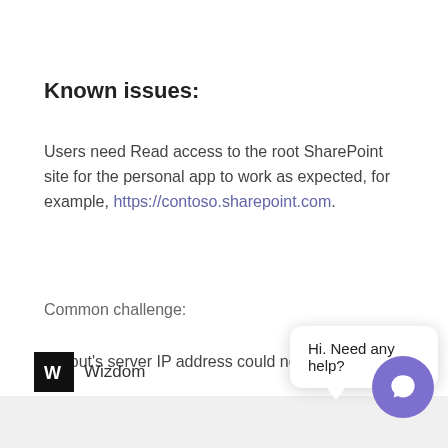Known issues:
Users need Read access to the root SharePoint site for the personal app to work as expected, for example, https://contoso.sharepoint.com.
Common challenge:
Layout's server IP address could not b
[Figure (screenshot): Chat widget overlay showing 'Hi. Need any help?' speech bubble and purple circular chat button with speech icon]
[Figure (logo): Wizdom logo — black square with stylized W icon followed by the text 'Wizdom']
Ab